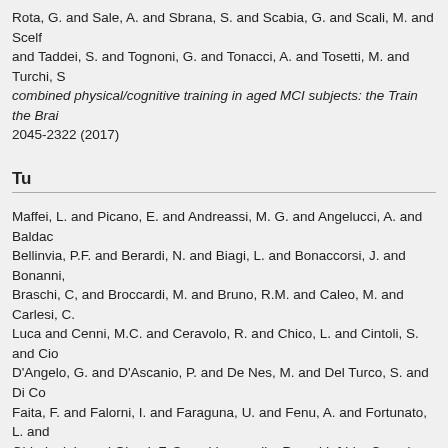Rota, G. and Sale, A. and Sbrana, S. and Scabia, G. and Scali, M. and Scelf and Taddei, S. and Tognoni, G. and Tonacci, A. and Tosetti, M. and Turchi, S combined physical/cognitive training in aged MCI subjects: the Train the Brai 2045-2322 (2017)
Tu
Maffei, L. and Picano, E. and Andreassi, M. G. and Angelucci, A. and Baldac Bellinvia, P.F. and Berardi, N. and Biagi, L. and Bonaccorsi, J. and Bonanni, Braschi, C, and Broccardi, M. and Bruno, R.M. and Caleo, M. and Carlesi, C. Luca and Cenni, M.C. and Ceravolo, R. and Chico, L. and Cintoli, S. and Cio D'Angelo, G. and D'Ascanio, P. and De Nes, M. and Del Turco, S. and Di Co Faita, F. and Falorni, I. and Faraguna, U. and Fenu, A. and Fortunato, L. and Ghiadoni, L. and Giorgi, F. S. and Iannarella, R. and Iofrida, C. and Kusmic, and Maggi, S. and Mainardi, M. and Mammana, L. and Marabotti, A. and Ma Micera, S. and Molinaro, S. and Narducci, R. and Navarra, T. and Noale, M. R. and Pellegrini, S. and Pietrini, Pietro and Pizzorusso, T. and Poli, A. and P Rota, G. and Sale, A. and Sbrana, S. and Scabia, G. and Scali, M. and Scelf and Taddei, S. and Tognoni, G. and Tonacci, A. and Tosetti, M. and Turchi, S combined physical/cognitive training in aged MCI subjects: the Train the Brai 2045-2322 (2017)
Vo
Maffei, L. and Picano, E. and Andreassi, M. G. and Angelucci, A. and Baldac Bellinvia, P.F. and Berardi, N. and Biagi, L. and Bonaccorsi, J. and Bonanni, Braschi, C, and Broccardi, M. and Bruno, R.M. and Caleo, M. and Carlesi, C. Luca and Cenni, M.C. and Ceravolo, R. and Chico, L. and Cintoli, S. and Cio